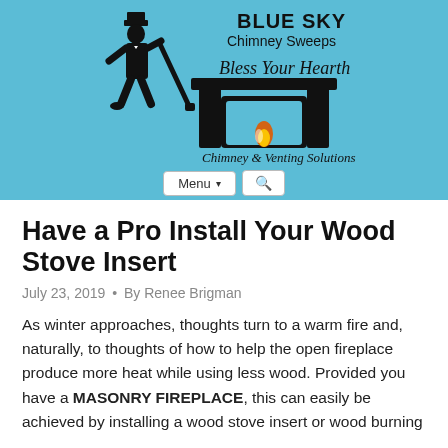[Figure (logo): Blue Sky Chimney Sweeps logo with silhouette of chimney sweep in top hat standing next to a fireplace, text reads 'BLUE SKY Chimney Sweeps Bless Your Hearth Chimney & Venting Solutions']
Menu ▾  🔍
Have a Pro Install Your Wood Stove Insert
July 23, 2019 • By Renee Brigman
As winter approaches, thoughts turn to a warm fire and, naturally, to thoughts of how to help the open fireplace produce more heat while using less wood. Provided you have a MASONRY FIREPLACE, this can easily be achieved by installing a wood stove insert or wood burning